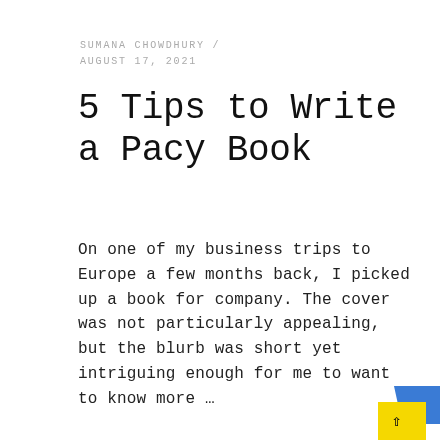SUMANA CHOWDHURY / AUGUST 17, 2021
5 Tips to Write a Pacy Book
On one of my business trips to Europe a few months back, I picked up a book for company. The cover was not particularly appealing, but the blurb was short yet intriguing enough for me to want to know more …
READ MORE